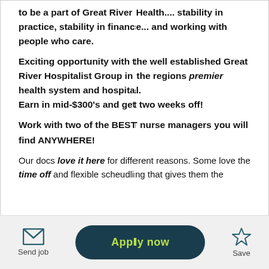to be a part of Great River Health.... stability in practice, stability in finance... and working with people who care.
Exciting opportunity with the well established Great River Hospitalist Group in the regions premier health system and hospital.
Earn in mid-$300's and get two weeks off!
Work with two of the BEST nurse managers you will find ANYWHERE!
Our docs love it here for different reasons. Some love the time off and flexible scheudling that gives them the